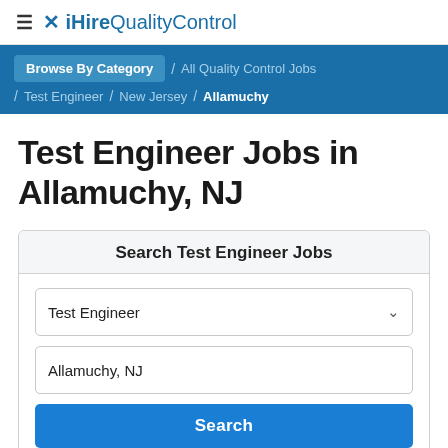≡ iHireQualityControl
Browse By Category / All Quality Control Jobs / Test Engineer / New Jersey / Allamuchy
Test Engineer Jobs in Allamuchy, NJ
Search Test Engineer Jobs
Test Engineer
Allamuchy, NJ
Search